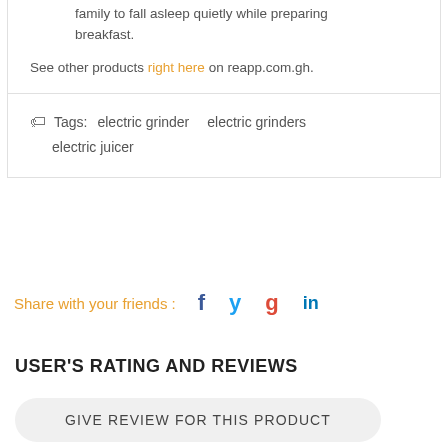family to fall asleep quietly while preparing breakfast.
See other products right here on reapp.com.gh.
Tags:  electric grinder    electric grinders  electric juicer
Share with your friends :
USER'S RATING AND REVIEWS
GIVE REVIEW FOR THIS PRODUCT